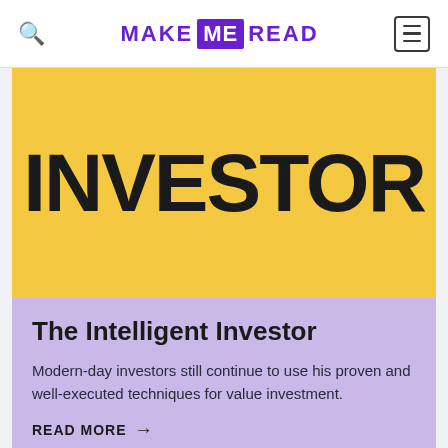MAKE ME READ
[Figure (illustration): Yellow background book cover banner with large bold condensed text reading INVESTOR]
The Intelligent Investor
Modern-day investors still continue to use his proven and well-executed techniques for value investment.
READ MORE →